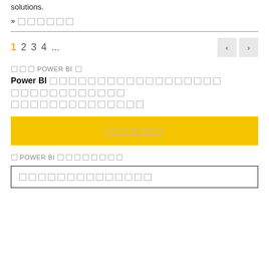solutions.
» ██████
1  2  3  4  ...  ‹  ›
███ POWER BI█
Power BI ████████████████████ ████████████ ██████████████
██████
█ POWER BI ████████
██████████████